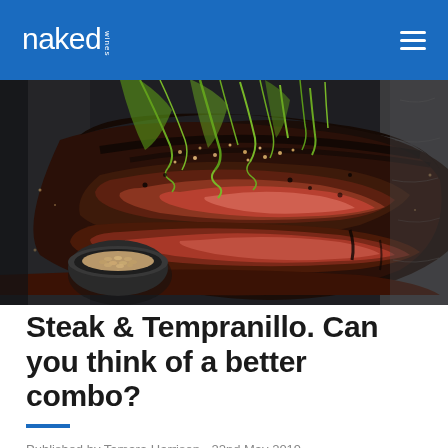naked wines
[Figure (photo): Close-up overhead photo of sliced grilled steak with charred crust, topped with scattered spring onions/scallions and sesame seeds, on a dark surface. A small bowl of sesame seeds is visible in the lower left corner.]
Steak & Tempranillo. Can you think of a better combo?
Published by Tamara Harrison - 22nd May 2019
We love hearing from WA winemaker Brian Fletcher